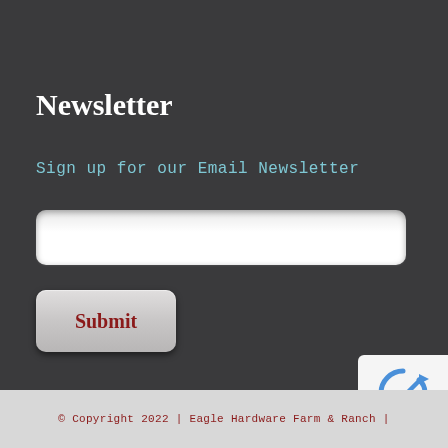Newsletter
Sign up for our Email Newsletter
[Figure (screenshot): Email input text field with rounded corners and light grey/white background]
[Figure (screenshot): Submit button with grey gradient background and dark red bold text 'Submit']
[Figure (logo): reCAPTCHA badge with spinning arrow logo and 'Privacy - Terms' text]
© Copyright 2022 | Eagle Hardware Farm & Ranch |